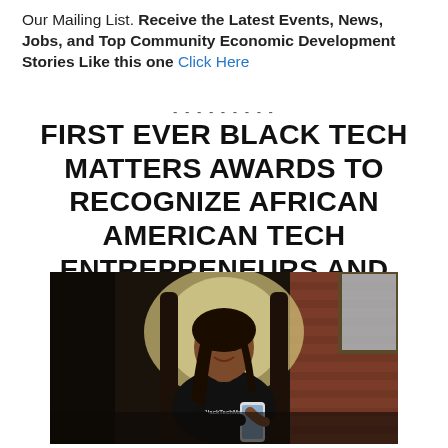Our Mailing List. Receive the Latest Events, News, Jobs, and Top Community Economic Development Stories Like this one Click Here
---------
FIRST EVER BLACK TECH MATTERS AWARDS TO RECOGNIZE AFRICAN AMERICAN TECH ENTREPRENEURS AND INNOVATORS
[Figure (photo): A young Black woman with braids, smiling and looking at a smartphone, seated in an ornate chair, wearing a black t-shirt with '#BlackTechMatters' text, with a brick wall and window in the background.]